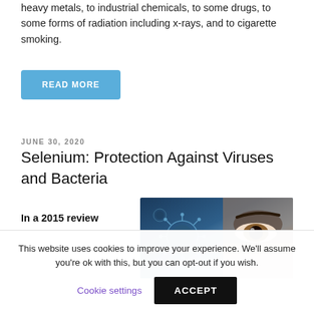heavy metals, to industrial chemicals, to some drugs, to some forms of radiation including x-rays, and to cigarette smoking.
READ MORE
JUNE 30, 2020
Selenium: Protection Against Viruses and Bacteria
In a 2015 review
[Figure (photo): Close-up image of a coronavirus particle and a person's eye, suggesting protection against viruses]
This website uses cookies to improve your experience. We'll assume you're ok with this, but you can opt-out if you wish.
Cookie settings
ACCEPT